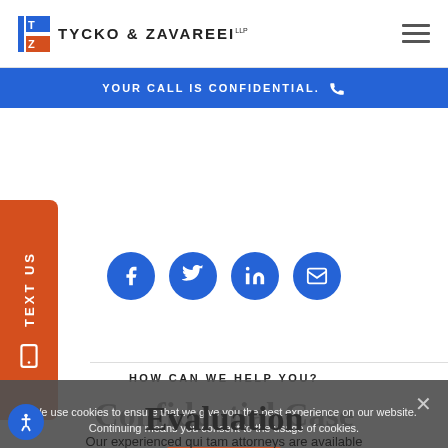[Figure (logo): Tycko & Zavareei LLP law firm logo with blue/red square icon and firm name]
YOUR CALL IS CONFIDENTIAL.
[Figure (infographic): TEXT US orange side tab with phone icon]
[Figure (infographic): Social media icons row: Facebook, Twitter, LinkedIn, Email - all in blue circles]
HOW CAN WE HELP YOU?
Confidential Case Evaluation
We use cookies to ensure that we give you the best experience on our website. Continuing means you consent to the usage of cookies.
Our experienced qui tam attorneys are available